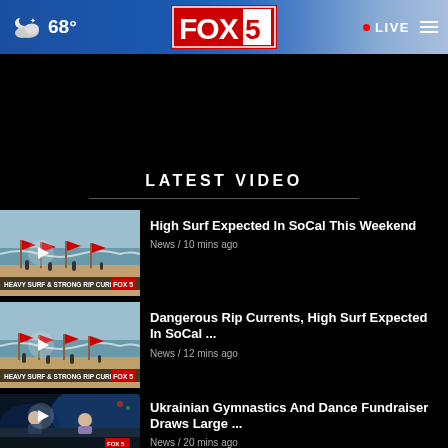FOX 5 | 68° | LIVE
LATEST VIDEO
[Figure (screenshot): Video thumbnail: beach with heavy surf and red warning flags, text: HEAVY SURF & STRONG RIP CURRENTS]
High Surf Expected In SoCal This Weekend
News / 10 mins ago
[Figure (screenshot): Video thumbnail: beach with heavy surf and red warning flags, text: HEAVY SURF & STRONG RIP CURRENTS]
Dangerous Rip Currents, High Surf Expected In SoCal ...
News / 12 mins ago
[Figure (screenshot): Video thumbnail: news studio with two anchors]
Ukrainian Gymnastics And Dance Fundraiser Draws Large ...
News / 20 mins ago